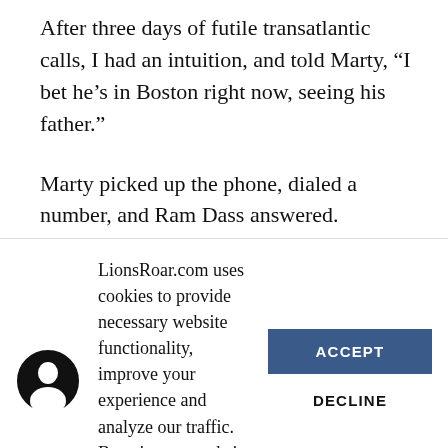After three days of futile transatlantic calls, I had an intuition, and told Marty, “I bet he’s in Boston right now, seeing his father.”
Marty picked up the phone, dialed a number, and Ram Dass answered.
“Hi,” he said to me, in a buoyant voice, “Did you
LionsRoar.com uses cookies to provide necessary website functionality, improve your experience and analyze our traffic. By using our website, you agree to our Privacy Policy and our cookies usage.
ACCEPT
DECLINE